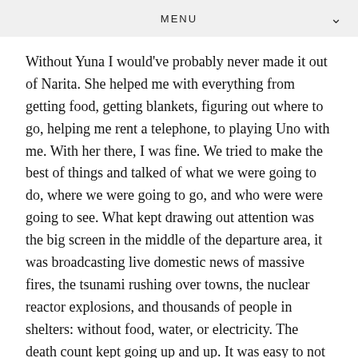MENU
Without Yuna I would've probably never made it out of Narita. She helped me with everything from getting food, getting blankets, figuring out where to go, helping me rent a telephone, to playing Uno with me. With her there, I was fine. We tried to make the best of things and talked of what we were going to do, where we were going to go, and who were were going to see. What kept drawing out attention was the big screen in the middle of the departure area, it was broadcasting live domestic news of massive fires, the tsunami rushing over towns, the nuclear reactor explosions, and thousands of people in shelters: without food, water, or electricity. The death count kept going up and up. It was easy to not understand the quickly spoken Japanese, but still be moved by the images and stories of people in the wake of the earthquake's destruction.
[Figure (photo): Photo of a food tray with what appears to be Japanese airport food, partially visible at the bottom of the page]